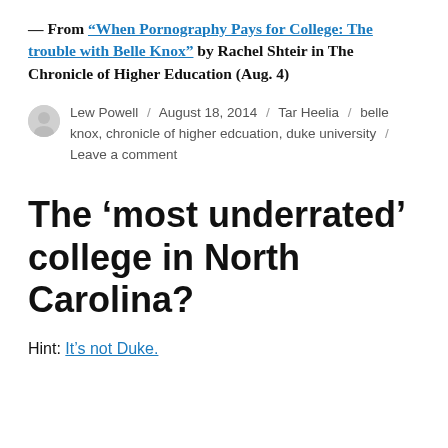— From “When Pornography Pays for College: The trouble with Belle Knox” by Rachel Shteir in The Chronicle of Higher Education (Aug. 4)
Lew Powell / August 18, 2014 / Tar Heelia / belle knox, chronicle of higher edcuation, duke university / Leave a comment
The ‘most underrated’ college in North Carolina?
Hint: It’s not Duke.